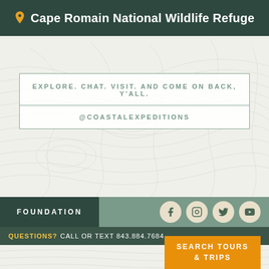Cape Romain National Wildlife Refuge
EXPLORE. CHAT. VISIT. AND COME ON BACK, Y'ALL.
@COASTALEXPEDITIONS
FOUNDATION
QUESTIONS? CALL OR TEXT 843.884.7684
COPYRIGHT 2022
SEARCH TOURS & TRIPS